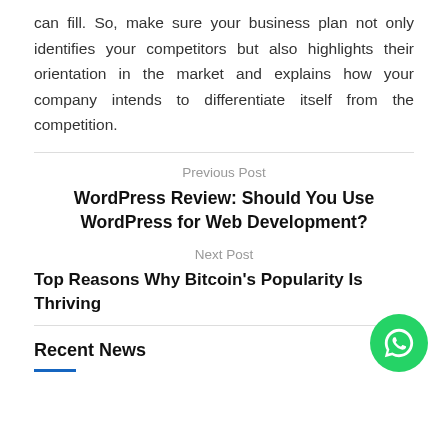can fill. So, make sure your business plan not only identifies your competitors but also highlights their orientation in the market and explains how your company intends to differentiate itself from the competition.
Previous Post
WordPress Review: Should You Use WordPress for Web Development?
Next Post
Top Reasons Why Bitcoin's Popularity Is Thriving
Recent News